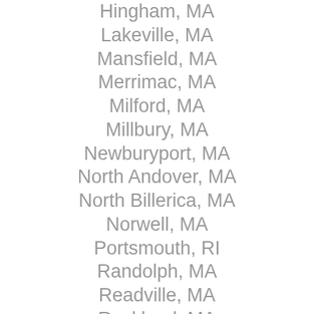Hingham, MA
Lakeville, MA
Mansfield, MA
Merrimac, MA
Milford, MA
Millbury, MA
Newburyport, MA
North Andover, MA
North Billerica, MA
Norwell, MA
Portsmouth, RI
Randolph, MA
Readville, MA
Rockland, MA
Roslindale, MA
Sagamore Beach, MA